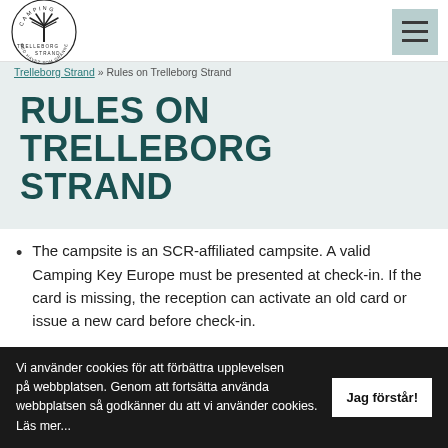[Figure (logo): Trelleborg Strand Camping circular logo with palm tree in center, text 'CAMPING', 'TRELLEBORG', 'STRAND', 'MED HAVET SOM GRANNE' around the circle]
Trelleborg Strand » Rules on Trelleborg Strand
RULES ON TRELLEBORG STRAND
The campsite is an SCR-affiliated campsite. A valid Camping Key Europe must be presented at check-in. If the card is missing, the reception can activate an old card or issue a new card before check-in.
Vi använder cookies för att förbättra upplevelsen på webbplatsen. Genom att fortsätta använda webbplatsen så godkänner du att vi använder cookies. Läs mer...